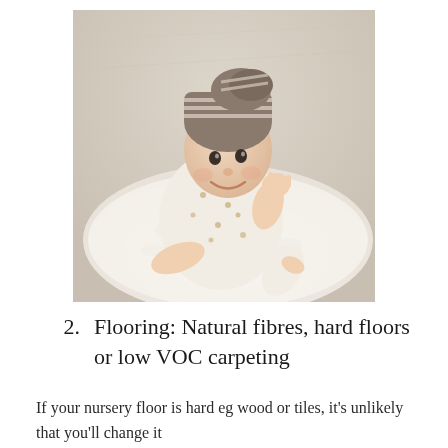[Figure (photo): A smiling baby wearing a striped knit hat and a patterned onesie, lying on a fluffy white rug on a light wood floor, propped up on their elbows and waving at the camera.]
2. Flooring: Natural fibres, hard floors or low VOC carpeting
If your nursery floor is hard eg wood or tiles, it's unlikely that you'll change it